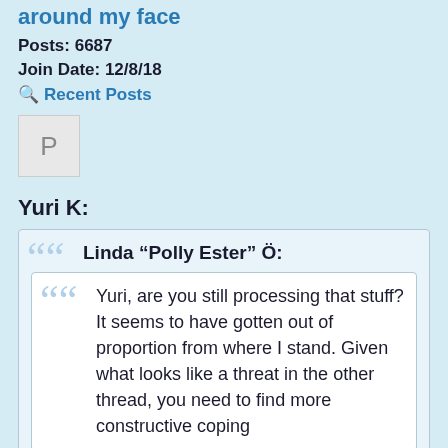around my face
Posts: 6687
Join Date: 12/8/18
Recent Posts
[Figure (other): Avatar placeholder box with letter P]
Yuri K:
Linda "Polly Ester" Ö:
Yuri, are you still processing that stuff? It seems to have gotten out of proportion from where I stand. Given what looks like a threat in the other thread, you need to find more constructive coping